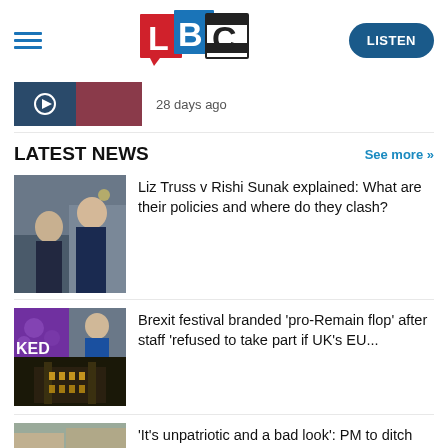[Figure (logo): LBC radio logo with L in red, B in blue, C in black/white squares]
28 days ago
LATEST NEWS
See more >>
[Figure (photo): Rishi Sunak and Liz Truss standing together]
Liz Truss v Rishi Sunak explained: What are their policies and where do they clash?
[Figure (photo): Brexit related images - purple background with KED text, Theresa May, and illuminated building]
Brexit festival branded 'pro-Remain flop' after staff 'refused to take part if UK's EU...
[Figure (photo): Partial image of outdoor scene]
'It's unpatriotic and a bad look': PM to ditch